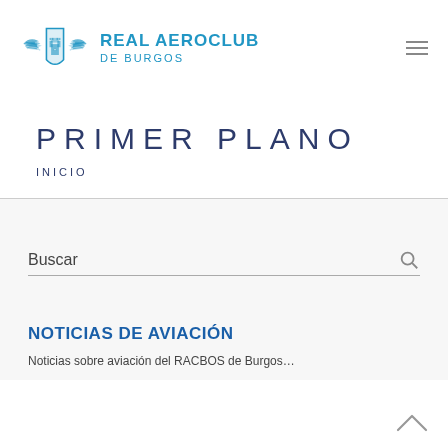[Figure (logo): Real Aeroclub de Burgos logo with wings emblem and text]
PRIMER PLANO
INICIO
Buscar
NOTICIAS DE AVIACIÓN
Noticias sobre aviación del RACBOS de Burgos...